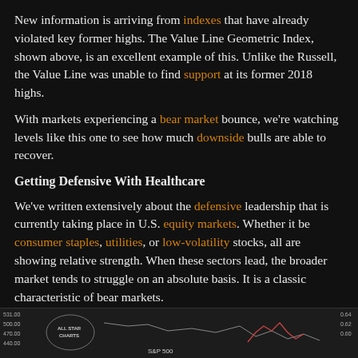New information is arriving from indexes that have already violated key former highs. The Value Line Geometric Index, shown above, is an excellent example of this. Unlike the Russell, the Value Line was unable to find support at its former 2018 highs.
With markets experiencing a bear market bounce, we're watching levels like this one to see how much downside bulls are able to recover.
Getting Defensive With Healthcare
We've written extensively about the defensive leadership that is currently taking place in U.S. equity markets. Whether it be consumer staples, utilities, or low-volatility stocks, all are showing relative strength. When these sectors lead, the broader market tends to struggle on an absolute basis. It is a classic characteristic of bear markets.
[Figure (other): Partial view of a financial chart showing S&P 500 with All Star Charts branding, partially visible at bottom of page]